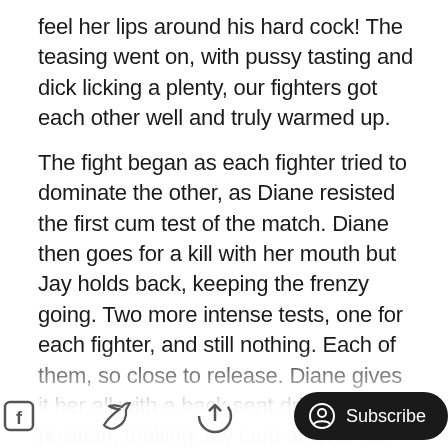feel her lips around his hard cock! The teasing went on, with pussy tasting and dick licking a plenty, our fighters got each other well and truly warmed up.
The fight began as each fighter tried to dominate the other, as Diane resisted the first cum test of the match. Diane then goes for a kill with her mouth but Jay holds back, keeping the frenzy going. Two more intense tests, one for each fighter, and still nothing. Each of them, so close to release. Diane gives it her all with a back seat driver position, making Jay cum all over her face! Jay took a moment to rest, only to find Diane giving him a messy blowjob, determined to milk him dry. Jay resists and gets Di... choking and fingering her until sh...
[Figure (other): Bottom bar with Facebook icon, Twitter icon, share icon, and a Subscribe button overlay]